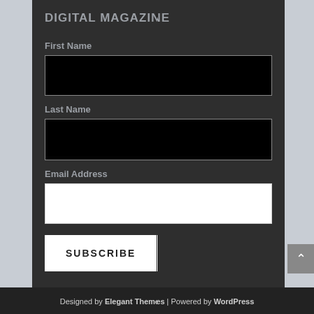DIGITAL MAGAZINE
First Name
Last Name
Email Address
SUBSCRIBE
Designed by Elegant Themes | Powered by WordPress